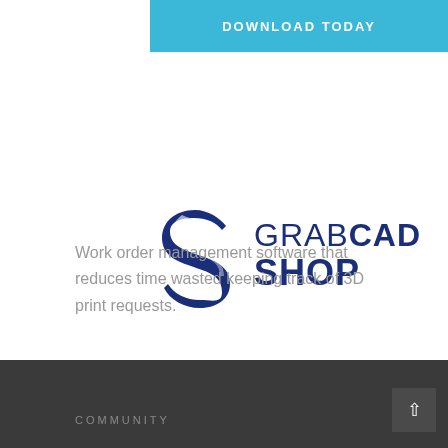[Figure (logo): DOWNLOAD TODAY button in teal/cyan color]
[Figure (logo): GrabCAD Shop logo with blue S-shaped icon and text GRABCAD SHOP]
Work order management software that reduces time wasted keeping track of 3D print requests.
[Figure (other): REQUEST A DEMO button in dark navy blue]
COMMUNITY